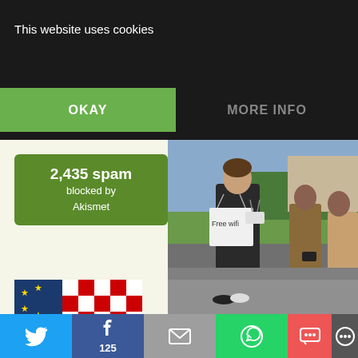This website uses cookies
OKAY
MORE INFO
[Figure (infographic): Akismet spam counter widget: '2,435 spam blocked by Akismet' on green background]
[Figure (photo): Book cover with EU and Croatian flags and text TREATY]
pdf Public document
[Figure (photo): Photo of man with 'Free wifi' sign on his back, with people using phones around him on a road]
September 2015 Valent Turkovic makes Free WiFi for [refugees]
[Figure (infographic): Social sharing bar with Twitter, Facebook (125), Email, WhatsApp, SMS, and more buttons]